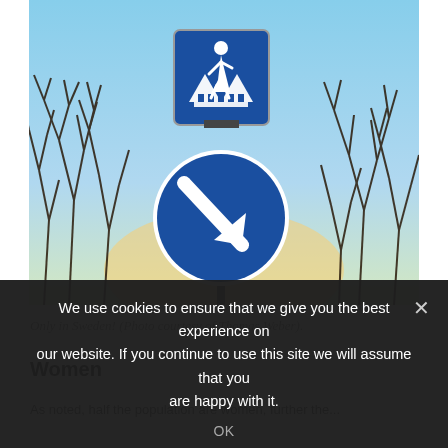[Figure (photo): Photograph of two Swedish road signs against a blue sky with bare winter trees. The upper sign is a blue square with a white pedestrian crossing symbol showing a woman figure. The lower sign is a blue circle with a white diagonal arrow pointing down-right, indicating road keep right or detour direction. The signs are mounted on a metal pole.]
Only in Sweden! (Photo courtesy of Thomas Weber).
Women
As noted, half the population are women, further the...
We use cookies to ensure that we give you the best experience on our website. If you continue to use this site we will assume that you are happy with it.